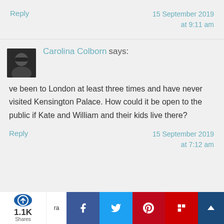Reply
15 September 2019 at 9:11 am
[Figure (photo): User avatar thumbnail showing a person with sunglasses]
Carolina Colborn says:
ve been to London at least three times and have never visited Kensington Palace. How could it be open to the public if Kate and William and their kids live there?
Reply
15 September 2019 at 7:12 am
[Figure (screenshot): Social sharing bar with share count 1.1K, Facebook, Twitter, Pinterest, Flipboard buttons]